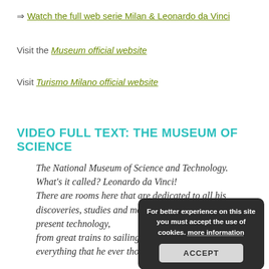⇒ Watch the full web serie Milan & Leonardo da Vinci
Visit the Museum official website
Visit Turismo Milano official website
VIDEO FULL TEXT: THE MUSEUM OF SCIENCE
The National Museum of Science and Technology.
What's it called? Leonardo da Vinci!
There are rooms here that are dedicated to all his discoveries, studies and models that paved the way for present technology,
from great trains to sailing catamarans,
everything that he ever thought about and
[Figure (screenshot): Cookie consent overlay with dark background showing text 'For better experience on this site you must accept the use of cookies. more information' and an ACCEPT button]